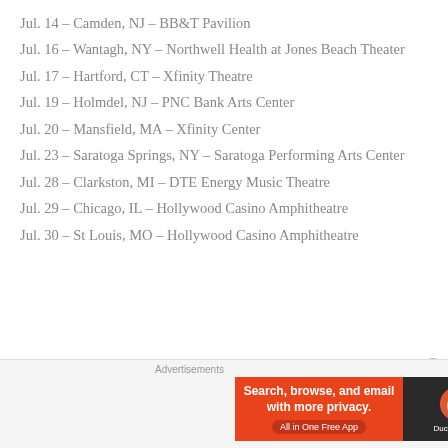Jul. 14 – Camden, NJ – BB&T Pavilion
Jul. 16 – Wantagh, NY – Northwell Health at Jones Beach Theater
Jul. 17 – Hartford, CT – Xfinity Theatre
Jul. 19 – Holmdel, NJ – PNC Bank Arts Center
Jul. 20 – Mansfield, MA – Xfinity Center
Jul. 23 – Saratoga Springs, NY – Saratoga Performing Arts Center
Jul. 28 – Clarkston, MI – DTE Energy Music Theatre
Jul. 29 – Chicago, IL – Hollywood Casino Amphitheatre
Jul. 30 – St Louis, MO – Hollywood Casino Amphitheatre
[Figure (other): DuckDuckGo advertisement banner: Search, browse, and email with more privacy. All in One Free App.]